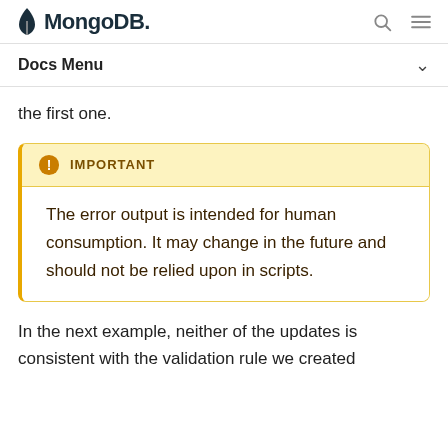MongoDB. [search icon] [menu icon]
Docs Menu
the first one.
IMPORTANT
The error output is intended for human consumption. It may change in the future and should not be relied upon in scripts.
In the next example, neither of the updates is consistent with the validation rule we created